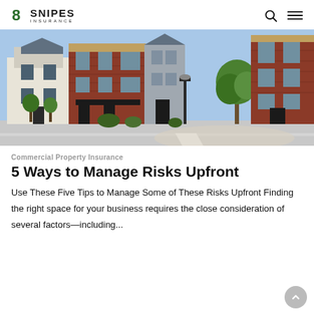SNIPES INSURANCE
[Figure (photo): Street view of commercial brick buildings with trees and parking lot in a suburban downtown setting]
Commercial Property Insurance
5 Ways to Manage Risks Upfront
Use These Five Tips to Manage Some of These Risks Upfront Finding the right space for your business requires the close consideration of several factors—including...